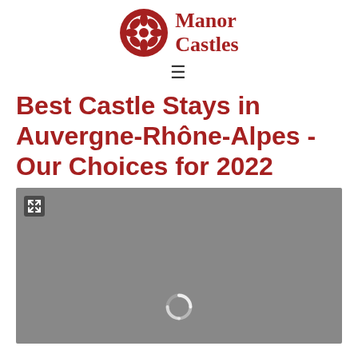Manor Castles
Best Castle Stays in Auvergne-Rhône-Alpes - Our Choices for 2022
[Figure (photo): Gray placeholder image with expand icon in top-left and loading spinner in center-bottom, representing a castle or property photo that is loading]